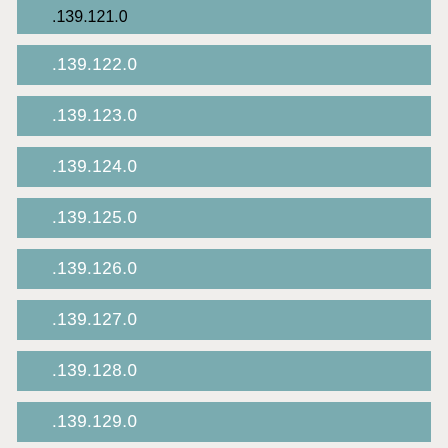.139.121.0
.139.122.0
.139.123.0
.139.124.0
.139.125.0
.139.126.0
.139.127.0
.139.128.0
.139.129.0
.139.130.0